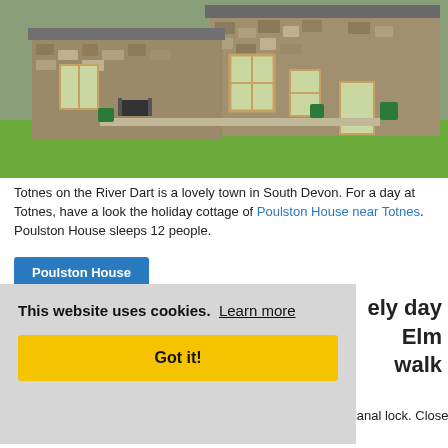[Figure (photo): Stone cottage house (Poulston House near Totnes) with green lawn, wooden-framed windows and patio furniture]
Totnes on the River Dart is a lovely town in South Devon. For a day at Totnes, have a look the holiday cottage of Poulston House near Totnes. Poulston House sleeps 12 people.
Poulston House (button)
This website uses cookies. Learn more
Got it!
ely day Elm walk
Wheel
The Falkirk Wheel in Stirlingshire is the world's only rotary canal lock. Close to the Falkirk Wheel, you'll find Elm Cottage – only 1.6